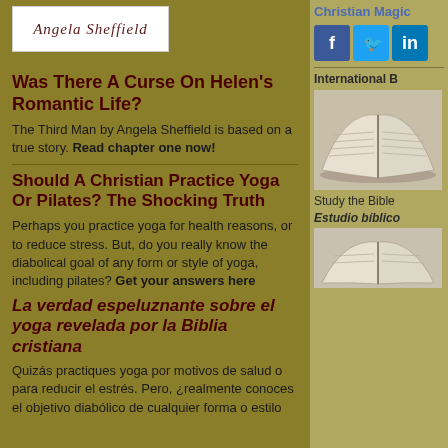[Figure (logo): Angela Sheffield signature logo in cursive script on white background]
Was There A Curse On Helen's Romantic Life?
The Third Man by Angela Sheffield is based on a true story. Read chapter one now!
Should A Christian Practice Yoga Or Pilates? The Shocking Truth
Perhaps you practice yoga for health reasons, or to reduce stress. But, do you really know the diabolical goal of any form or style of yoga, including pilates? Get your answers here
La verdad espeluznante sobre el yoga revelada por la Biblia cristiana
Quizás practiques yoga por motivos de salud o para reducir el estrés. Pero, ¿realmente conoces el objetivo diabólico de cualquier forma o estilo
Christian Magic
[Figure (illustration): Facebook, Twitter, LinkedIn social media icons]
International B
[Figure (photo): Open Bible book photo]
Study the Bible
Estudio bíblico
[Figure (photo): Open Bible book photo second]